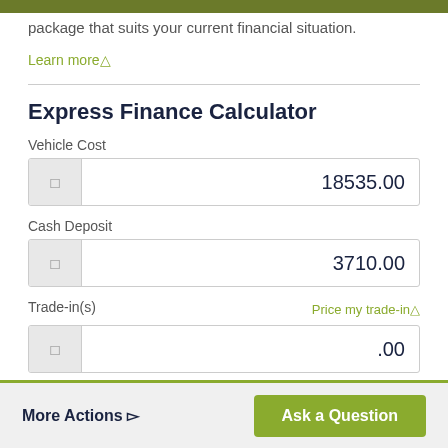package that suits your current financial situation.
Learn more
Express Finance Calculator
Vehicle Cost
18535.00
Cash Deposit
3710.00
Trade-in(s)
Price my trade-in
.00
More Actions
Ask a Question